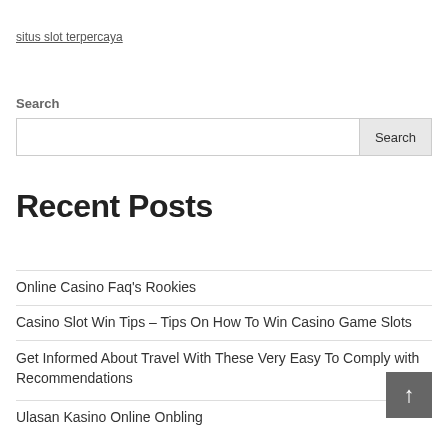situs slot terpercaya
Search
Search
Recent Posts
Online Casino Faq's Rookies
Casino Slot Win Tips – Tips On How To Win Casino Game Slots
Get Informed About Travel With These Very Easy To Comply with Recommendations
Ulasan Kasino Online Onbling